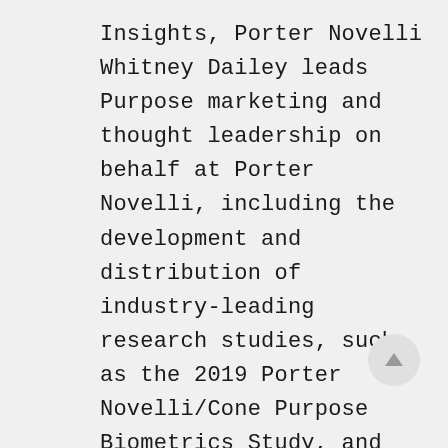Insights, Porter Novelli Whitney Dailey leads Purpose marketing and thought leadership on behalf at Porter Novelli, including the development and distribution of industry-leading research studies, such as the 2019 Porter Novelli/Cone Purpose Biometrics Study, and the…